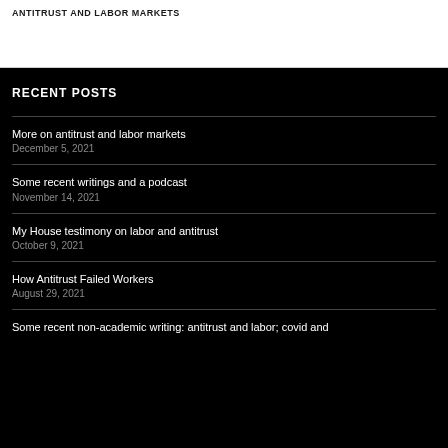ANTITRUST AND LABOR MARKETS
RECENT POSTS
More on antitrust and labor markets
December 5, 2021
Some recent writings and a podcast
November 14, 2021
My House testimony on labor and antitrust
October 9, 2021
How Antitrust Failed Workers
August 29, 2021
Some recent non-academic writing: antitrust and labor; covid and